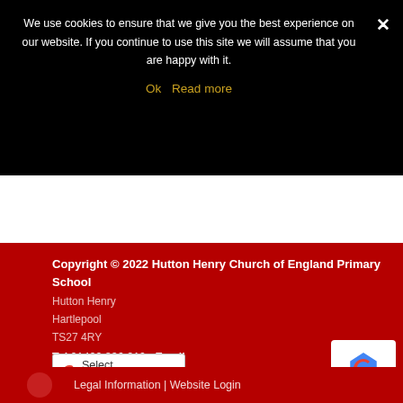We use cookies to ensure that we give you the best experience on our website. If you continue to use this site we will assume that you are happy with it.
Ok   Read more
Copyright © 2022 Hutton Henry Church of England Primary School
Hutton Henry
Hartlepool
TS27 4RY
Tel 01429 836 219 · Email
huttonhenry@durhamlearning.net
Select Language
Legal Information | Website Login